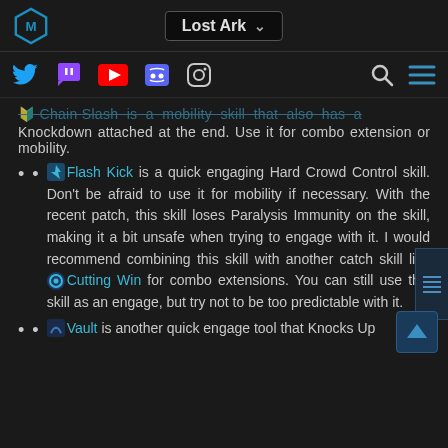Lost Ark (navigation header with logo and social icons)
Chain Slash is a mobility skill that also has a Knockdown attached at the end. Use it for combo extension or mobility.
Flash Kick is a quick engaging Hard Crowd Control skill. Don't be afraid to use it for mobility if necessary. With the recent patch, this skill loses Paralysis Immunity on the skill, making it a bit unsafe when trying to engage with it. I would recommend combining this skill with another catch skill like Cutting Wind for combo extensions. You can still use this skill as an engage, but try not to be too predictable with it.
Vault is another quick engage tool that Knocks Up